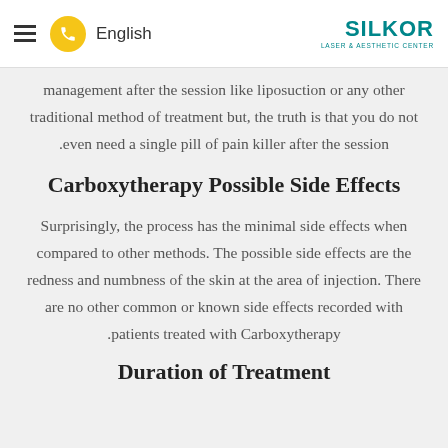English | SILKOR LASER & AESTHETIC CENTER
management after the session like liposuction or any other traditional method of treatment but, the truth is that you do not even need a single pill of pain killer after the session.
Carboxytherapy Possible Side Effects
Surprisingly, the process has the minimal side effects when compared to other methods. The possible side effects are the redness and numbness of the skin at the area of injection. There are no other common or known side effects recorded with patients treated with Carboxytherapy.
Duration of Treatment